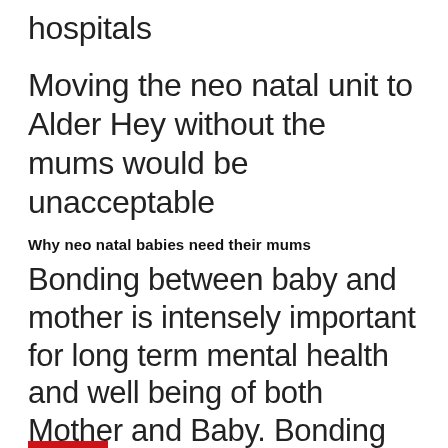hospitals
Moving the neo natal unit to Alder Hey without the mums would be unacceptable
Why neo natal babies need their mums
Bonding between baby and mother is intensely important for long term mental health and well being of both Mother and Baby. Bonding with other care giving family members matters too.